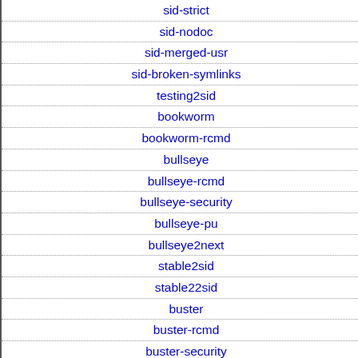sid-strict
sid-nodoc
sid-merged-usr
sid-broken-symlinks
testing2sid
bookworm
bookworm-rcmd
bullseye
bullseye-rcmd
bullseye-security
bullseye-pu
bullseye2next
stable2sid
stable22sid
buster
buster-rcmd
buster-security
buster-pu
| Field | Value | Action |
| --- | --- | --- |
| Source: | argparse:all | resu... |
| Source: | lua-busted | piup... sum... |
| Maintainer: | Debian Lua Team |  |
| Uploaders: | Victor Seva <vsev... |  |
| Binary: | lua-busted:all | piup... resu... |
| Source: | lua-cjson | piup... sum... |
| Maintainer: | The Debian Lua T... |  |
| Uploaders: | Dmitry E. Oboukh... |  |
| Binary: | lua-cjson | piup... resu... |
| Binary: | lua-cjson-dev | piup... resu... |
| Source: | lua-cliargs | piup... sum... |